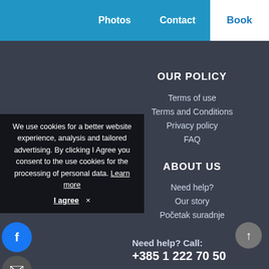Photos   Contact   Book
OUR POLICY
Terms of use
Terms and Conditions
Privacy policy
FAQ
ABOUT US
Need help?
Our story
Početak suradnje
Need help? Call:
+385 1 222 70 50
We use cookies for a better website experience, analysis and tailored advertising. By clicking I Agree you consent to the use cookies for the processing of personal data. Learn more
I agree ×